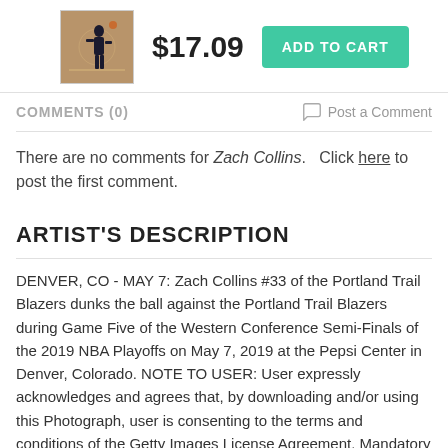[Figure (photo): Small product thumbnail of a basketball player dunking]
$17.09
ADD TO CART
COMMENTS (0)
Post a Comment
There are no comments for Zach Collins.   Click here to post the first comment.
ARTIST'S  DESCRIPTION
DENVER, CO - MAY 7: Zach Collins #33 of the Portland Trail Blazers dunks the ball against the Portland Trail Blazers during Game Five of the Western Conference Semi-Finals of the 2019 NBA Playoffs on May 7, 2019 at the Pepsi Center in Denver, Colorado. NOTE TO USER: User expressly acknowledges and agrees that, by downloading and/or using this Photograph, user is consenting to the terms and conditions of the Getty Images License Agreement. Mandatory Copyright Notice: Copyright 2019 NBAE (Photo by Garrett Ellwood/NBAE via Getty Images)Image provided by Getty Images.